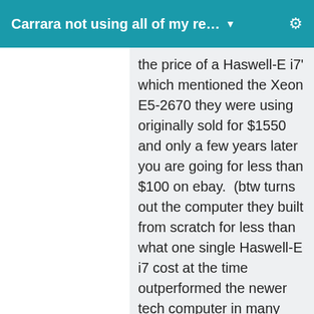Carrara not using all of my re... ▼
the price of a Haswell-E i7' which mentioned the Xeon E5-2670 they were using originally sold for $1550 and only a few years later you are going for less than $100 on ebay.  (btw turns out the computer they built from scratch for less than what one single Haswell-E i7 cost at the time outperformed the newer tech computer in many side-by-sides).  Now the build they did in the article was still way too pricey for me and used mostly new equipment, except for the xeons, but it hit me how much